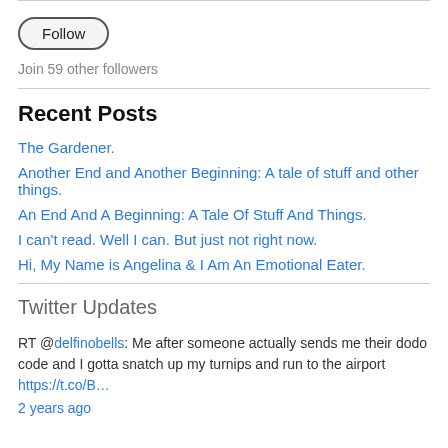[Figure (other): Follow button — rounded rectangle button with label 'Follow']
Join 59 other followers
Recent Posts
The Gardener.
Another End and Another Beginning: A tale of stuff and other things.
An End And A Beginning: A Tale Of Stuff And Things.
I can't read. Well I can. But just not right now.
Hi, My Name is Angelina & I Am An Emotional Eater.
Twitter Updates
RT @delfinobells: Me after someone actually sends me their dodo code and I gotta snatch up my turnips and run to the airport https://t.co/B…
2 years ago